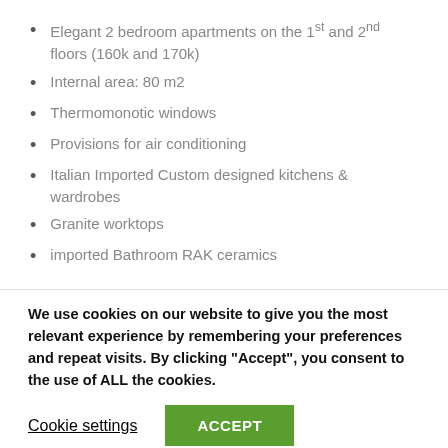Elegant 2 bedroom apartments on the 1st and 2nd floors (160k and 170k)
Internal area: 80 m2
Thermomonotic windows
Provisions for air conditioning
Italian Imported Custom designed kitchens & wardrobes
Granite worktops
imported Bathroom RAK ceramics
We use cookies on our website to give you the most relevant experience by remembering your preferences and repeat visits. By clicking “Accept”, you consent to the use of ALL the cookies.
Cookie settings | ACCEPT